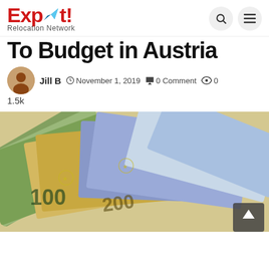[Figure (logo): Expat! Relocation Network logo with blue paper plane arrow and red bold text]
To Budget in Austria
Jill B  November 1, 2019  0 Comment  0  1.5k
[Figure (photo): Fan of Euro banknotes (100 euro bills and others) spread out on a surface]